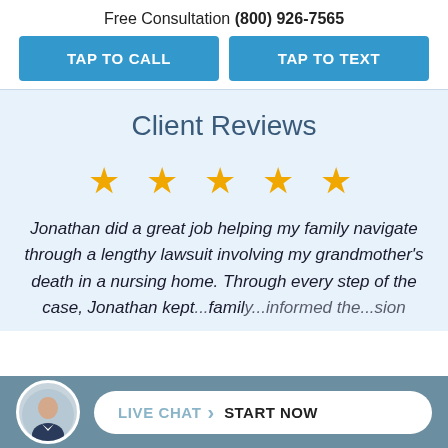Free Consultation (800) 926-7565
TAP TO CALL
TAP TO TEXT
Client Reviews
[Figure (other): Five gold star rating icons]
Jonathan did a great job helping my family navigate through a lengthy lawsuit involving my grandmother's death in a nursing home. Through every step of the case, Jonathan kept...family...informed the...sion
[Figure (photo): Circular avatar photo of a bald man in a suit jacket]
LIVE CHAT › START NOW